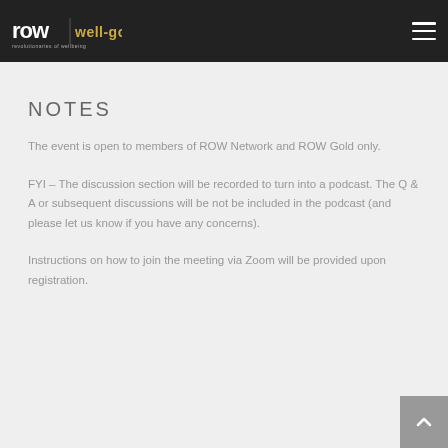ROW | well-gold
NOTES
The event is open to members of ROW Network and ROW Gold only.
FYI – The discussion section will be recorded to turn into a podcast. The Q & A or subsequent discussions will be not be included in the podcast (and please let us know if you have any concerns).
Instructions on how to join the meeting via Zoom will be provided upon registration.